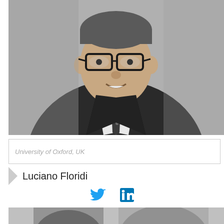[Figure (photo): Black and white portrait photo of Luciano Floridi, a man in a dark suit and polka-dot tie wearing glasses, smiling]
University of Oxford, UK
Luciano Floridi
[Figure (infographic): Twitter and LinkedIn social media icons in blue]
[Figure (photo): Partial black and white photo of another person at the bottom of the page]